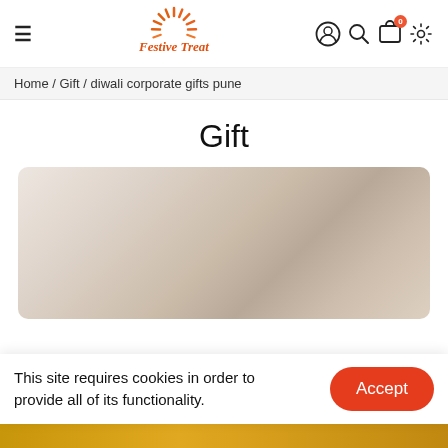Festive Treat — navigation header with hamburger menu, logo, and icons (user, search, cart, settings)
Home / Gift / diwali corporate gifts pune
Gift
[Figure (photo): Blurred product image with warm beige/taupe tones showing gift items]
This site requires cookies in order to provide all of its functionality.
Accept